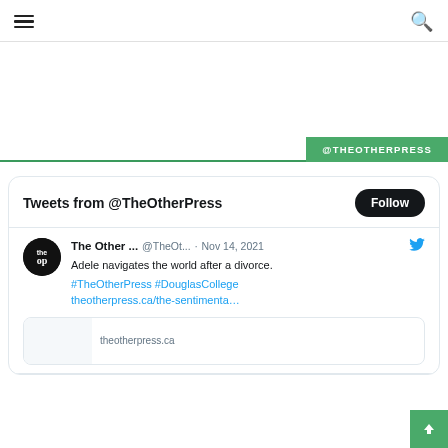Navigation menu and search icon
@THEOTHERPRESS
Tweets from @TheOtherPress Follow
The Other ... @TheOt... · Nov 14, 2021 Adele navigates the world after a divorce. #TheOtherPress #DouglasCollege theotherpress.ca/the-sentimenta…
theotherpress.ca